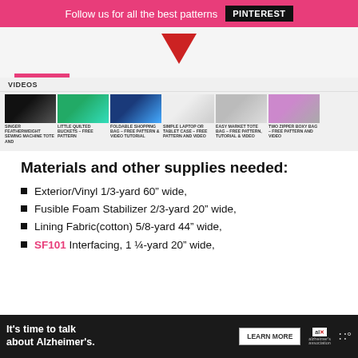Follow us for all the best patterns  PINTEREST
[Figure (screenshot): Screenshot of a sewing blog page showing an arrow pointing down, an Older posts button, a VIDEOS section with 6 video thumbnails: SINGER FEATHERWEIGHT SEWING MACHINE TOTE AND, LITTLE QUILTED BUCKETS – FREE PATTERN, FOLDABLE SHOPPING BAG – FREE PATTERN & VIDEO TUTORIAL, SIMPLE LAPTOP OR TABLET CASE – FREE PATTERN AND VIDEO, EASY MARKET TOTE BAG – FREE PATTERN, TUTORIAL & VIDEO, TWO ZIPPER BOXY BAG – FREE PATTERN AND VIDEO]
Materials and other supplies needed:
Exterior/Vinyl 1/3-yard 60″ wide,
Fusible Foam Stabilizer 2/3-yard 20″ wide,
Lining Fabric(cotton) 5/8-yard 44″ wide,
SF101 Interfacing, 1 ¼-yard 20″ wide,
[Figure (screenshot): Advertisement banner: It's time to talk about Alzheimer's. LEARN MORE. Alzheimer's association logo. Close button.]